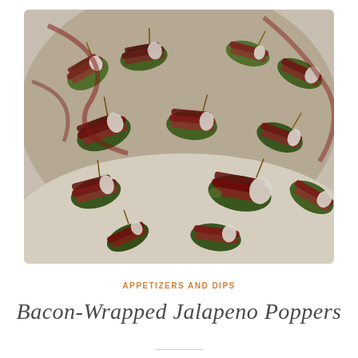[Figure (photo): Close-up photograph of bacon-wrapped jalapeño poppers filled with cream cheese, secured with toothpicks, arranged on a white surface]
APPETIZERS AND DIPS
Bacon-Wrapped Jalapeno Poppers